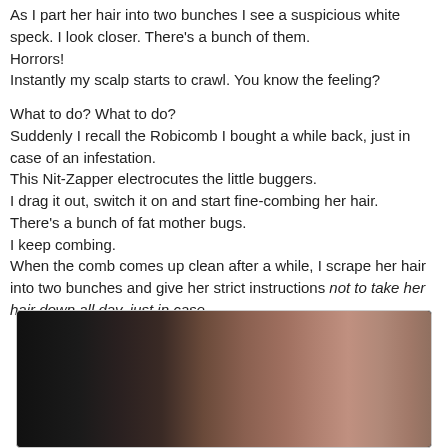As I part her hair into two bunches I see a suspicious white speck. I look closer. There's a bunch of them. Horrors! Instantly my scalp starts to crawl. You know the feeling?

What to do? What to do? Suddenly I recall the Robicomb I bought a while back, just in case of an infestation. This Nit-Zapper electrocutes the little buggers. I drag it out, switch it on and start fine-combing her hair. There's a bunch of fat mother bugs. I keep combing. When the comb comes up clean after a while, I scrape her hair into two bunches and give her strict instructions not to take her hair down all day, just in case.
[Figure (photo): A close-up photograph showing hair or scalp, dark on the left transitioning to warm reddish-brown tones on the right, partially blurred.]